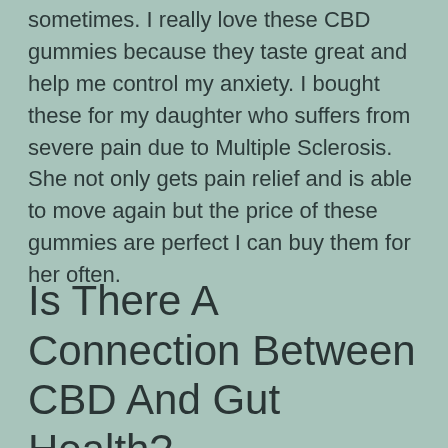sometimes. I really love these CBD gummies because they taste great and help me control my anxiety. I bought these for my daughter who suffers from severe pain due to Multiple Sclerosis. She not only gets pain relief and is able to move again but the price of these gummies are perfect I can buy them for her often.
Is There A Connection Between CBD And Gut Health?